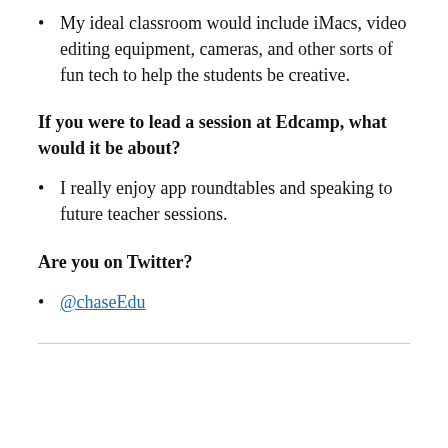My ideal classroom would include iMacs, video editing equipment, cameras, and other sorts of fun tech to help the students be creative.
If you were to lead a session at Edcamp, what would it be about?
I really enjoy app roundtables and speaking to future teacher sessions.
Are you on Twitter?
@chaseEdu